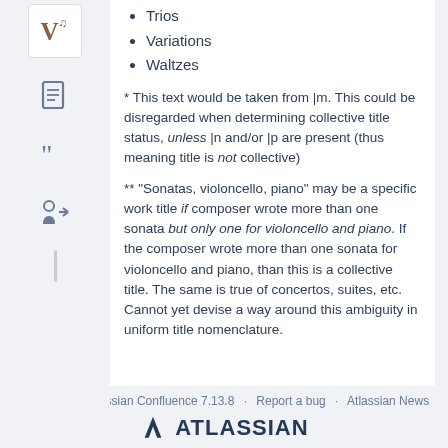Trios
Variations
Waltzes
* This text would be taken from |m. This could be disregarded when determining collective title status, unless |n and/or |p are present (thus meaning title is not collective)
** "Sonatas, violoncello, piano" may be a specific work title if composer wrote more than one sonata but only one for violoncello and piano. If the composer wrote more than one sonata for violoncello and piano, than this is a collective title. The same is true of concertos, suites, etc. Cannot yet devise a way around this ambiguity in uniform title nomenclature.
Powered by Atlassian Confluence 7.13.8 · Report a bug · Atlassian News